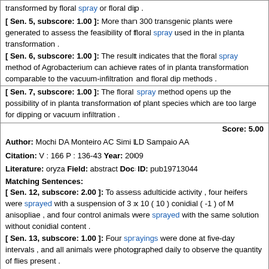transformed by floral spray or floral dip .
[ Sen. 5, subscore: 1.00 ]: More than 300 transgenic plants were generated to assess the feasibility of floral spray used in the in planta transformation .
[ Sen. 6, subscore: 1.00 ]: The result indicates that the floral spray method of Agrobacterium can achieve rates of in planta transformation comparable to the vacuum-infiltration and floral dip methods .
[ Sen. 7, subscore: 1.00 ]: The floral spray method opens up the possibility of in planta transformation of plant species which are too large for dipping or vacuum infiltration .
Score: 5.00
Author: Mochi DA Monteiro AC Simi LD Sampaio AA
Citation: V : 166 P : 136-43 Year: 2009
Literature: oryza Field: abstract Doc ID: pub19713044
Matching Sentences:
[ Sen. 12, subscore: 2.00 ]: To assess adulticide activity , four heifers were sprayed with a suspension of 3 x 10 ( 10 ) conidial ( -1 ) of M anisopliae , and four control animals were sprayed with the same solution without conidial content .
[ Sen. 13, subscore: 1.00 ]: Four sprayings were done at five-day intervals , and all animals were photographed daily to observe the quantity of flies present .
[ Sen. 14, subscore: 1.00 ]: After the second spraying , we observed an average of 22 . 9 flies per animal ; untreated heifers had an average of 43 flies per animal ; thus , the treatment significantly ( P<0 . 05 ) decreases fly infestation .
[ Sen. 15, subscore: 1.00 ]: The results obtained from both tests show that M anisopliae strain E9 has a pathogenic effect on Habritus larvae in